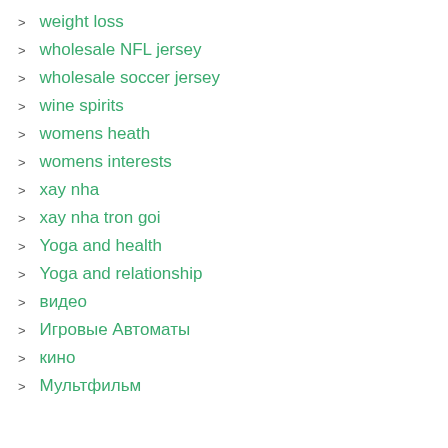weight loss
wholesale NFL jersey
wholesale soccer jersey
wine spirits
womens heath
womens interests
xay nha
xay nha tron goi
Yoga and health
Yoga and relationship
видео
Игровые Автоматы
кино
Мультфильм